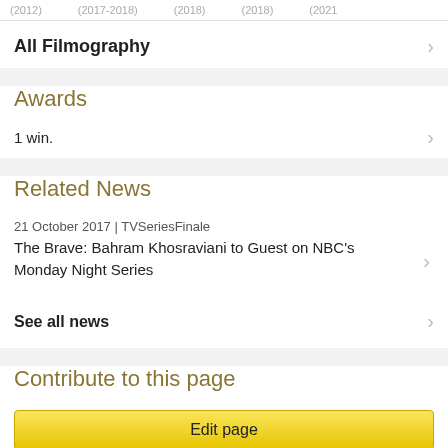(2012)   (2017-2018)   (2018)   (2018)   (2021
All Filmography
Awards
1 win.
Related News
21 October 2017 | TVSeriesFinale
The Brave: Bahram Khosraviani to Guest on NBC's Monday Night Series
See all news
Contribute to this page
Edit page